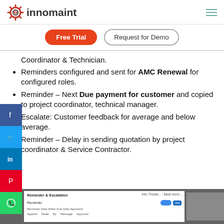[Figure (logo): Innomaint logo with gear icon and text 'innomaint']
Free Trial | Request for Demo
Coordinator & Technician.
Reminders configured and sent for AMC Renewal for configured roles.
Reminder – Next Due payment for customer and copied to project coordinator, technical manager.
Escalate: Customer feedback for average and below average.
Reminder – Delay in sending quotation by project coordinator & Service Contractor.
[Figure (screenshot): Screenshot of Innomaint Reminder & Escalation settings interface]